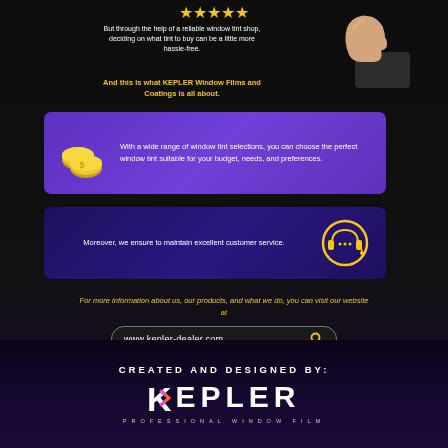[Figure (illustration): Five gold star rating icons]
[Figure (illustration): Thumbs up hand in suit illustration]
But through the help of a reliable window tint shop, deciding on what tint to buy can be a little more hassle-free.
And this is what KEPLER Window Films and Coatings is all about.
[Figure (infographic): Purple banner with gold coin stack icon and text: With a wide range of window tint selections, you can choose the perfect window tint suitable for your budget, needs, and preferences.]
[Figure (infographic): Dark purple banner with headset icon and text: Moreover, we ensure to maintain excellent customer service.]
For more information about us, our products, and what we do, you can visit our website at
www.kepler-dealer.com
CREATED AND DESIGNED BY:
[Figure (logo): KEPLER PROFESSIONAL WINDOW FILM logo in white on dark purple background]